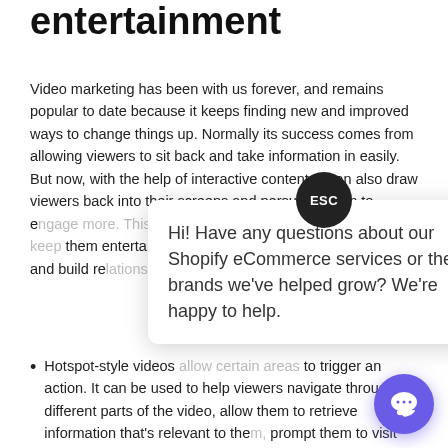entertainment
Video marketing has been with us forever, and remains popular to date because it keeps finding new and improved ways to change things up. Normally its success comes from allowing viewers to sit back and take information in easily. But now, with the help of interactive content, it can also draw viewers back into their screens and persuade them to e[...] strategy is designed to i[...] them entertained for lon[...] connections and build re[...] with video in different w[...]
Hotspot-style videos [...] to trigger an action. It can be used to help viewers navigate through different parts of the video, allow them to retrieve information that's relevant to the[...] prompt them to visit your website for a good, inte[...] reason.